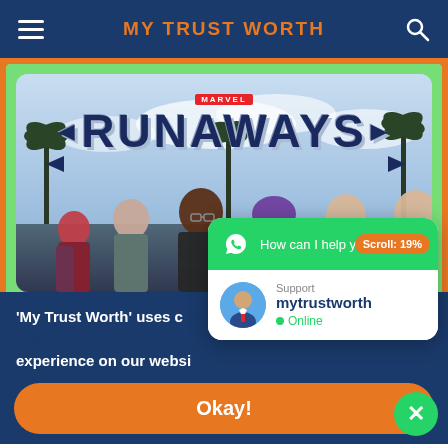MY TRUST WORTH
[Figure (screenshot): Marvel Runaways promotional image showing six young characters standing against a sky with palm trees background, with MARVEL logo and RUNAWAYS title text overlaid]
[Figure (screenshot): WhatsApp chat widget popup showing 'How can I help you?' message with support agent 'mytrustworth' shown as Online, and a Scroll: 19% badge]
'My Trust Worth' uses c... experience on our websi...
Okay!